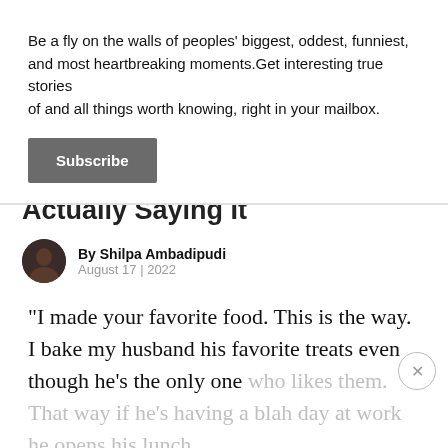Be a fly on the walls of peoples' biggest, oddest, funniest, and most heartbreaking moments.Get interesting true stories of and all things worth knowing, right in your mailbox.
Subscribe
Say 'I Love You' Without Actually Saying It
By Shilpa Ambadipudi
August 17 | 2022
"I made your favorite food. This is the way. I bake my husband his favorite treats even though he's the only one who likes them. That way if he's having a blah day at work he opens his lunch